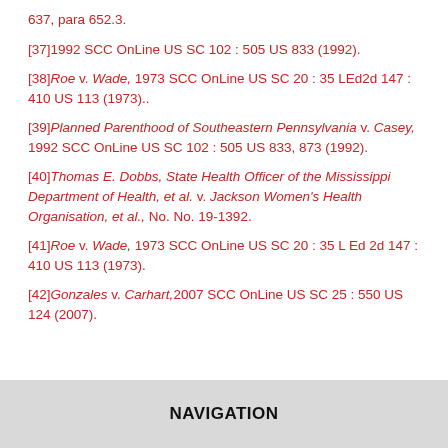637, para 652.3.
[37]1992 SCC OnLine US SC 102 : 505 US 833 (1992).
[38]Roe v. Wade, 1973 SCC OnLine US SC 20 : 35 LEd2d 147 : 410 US 113 (1973)..
[39]Planned Parenthood of Southeastern Pennsylvania v. Casey, 1992 SCC OnLine US SC 102 : 505 US 833, 873 (1992).
[40]Thomas E. Dobbs, State Health Officer of the Mississippi Department of Health, et al. v. Jackson Women's Health Organisation, et al., No. No. 19-1392.
[41]Roe v. Wade, 1973 SCC OnLine US SC 20 : 35 L Ed 2d 147 : 410 US 113 (1973).
[42]Gonzales v. Carhart,2007 SCC OnLine US SC 25 : 550 US 124 (2007).
NAVIGATION